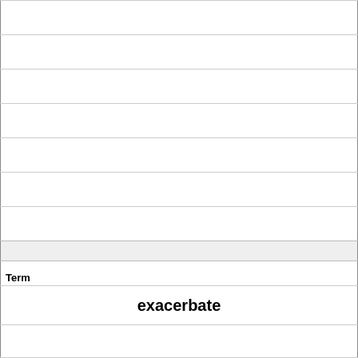|  |
|  |
|  |
|  |
|  |
|  |
|  |
| (gray divider row) |
| Term |
| exacerbate |
|  |
|  |
|  |
|  |
|  |
|  |
| Definition |
| worsen, embitter |